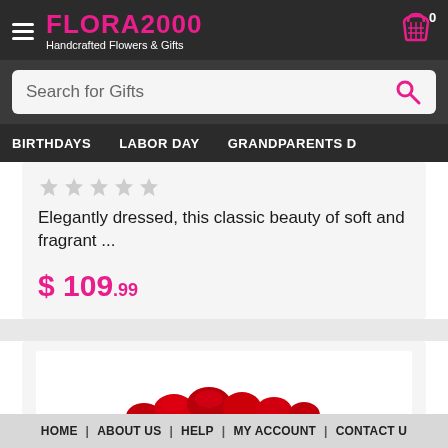FLORA2000 Handcrafted Flowers & Gifts
Search for Gifts
BIRTHDAYS | LABOR DAY | GRANDPARENTS D
Elegantly dressed, this classic beauty of soft and fragrant ...
$ 109.99
[Figure (photo): Red flowers/floral arrangement partially visible at bottom of second product card]
HOME | ABOUT US | HELP | MY ACCOUNT | CONTACT U